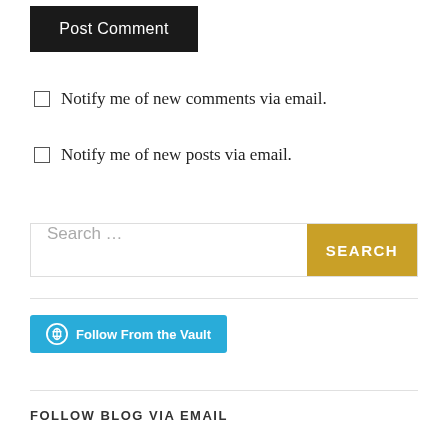Post Comment
Notify me of new comments via email.
Notify me of new posts via email.
Search ...
Follow From the Vault
FOLLOW BLOG VIA EMAIL